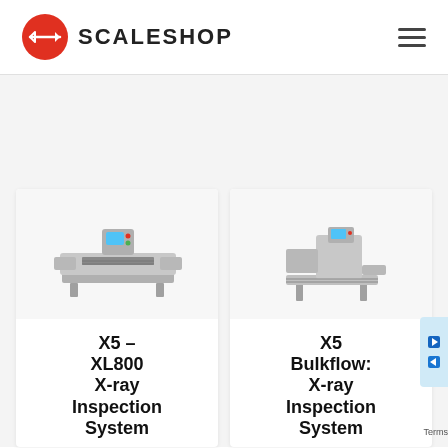[Figure (logo): Scaleshop logo: red circle with S arrow icon and SCALESHOP text in bold black letters, plus hamburger menu icon on the right]
[Figure (photo): X5 – XL800 X-ray Inspection System machine photo: stainless steel wide flat conveyor x-ray inspection unit with touchscreen panel]
X5 – XL800 X-ray Inspection System
[Figure (photo): X5 Bulkflow: X-ray Inspection System machine photo: stainless steel upright x-ray inspection unit with touchscreen panel and conveyor belt]
X5 Bulkflow: X-ray Inspection System